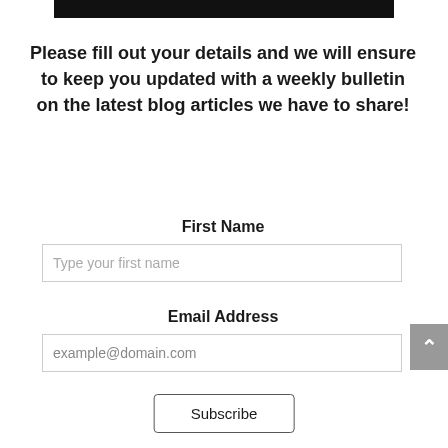[Figure (other): Black bar at top of page]
Please fill out your details and we will ensure to keep you updated with a weekly bulletin on the latest blog articles we have to share!
First Name
Type your first name
Email Address
example@domain.com
Subscribe